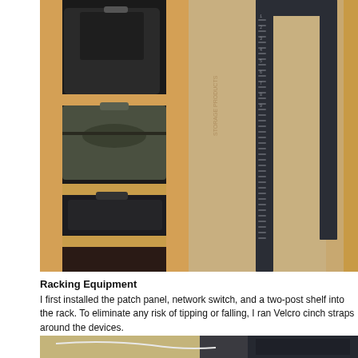[Figure (photo): Photograph of a closet showing wooden shelves on the left holding stacked luggage/suitcases, and a black open-frame server/network rack mounted on a tan/cardboard wall panel on the right side. The wooden frame construction and cardboard backing are visible.]
Racking Equipment
I first installed the patch panel, network switch, and a two-post shelf into the rack. To eliminate any risk of tipping or falling, I ran Velcro cinch straps around the devices.
[Figure (photo): Partial photograph showing the bottom portion of a closet or storage area with some equipment visible.]